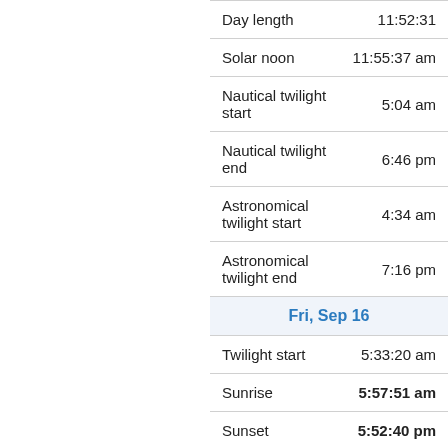|  |  |
| --- | --- |
| Day length | 11:52:31 |
| Solar noon | 11:55:37 am |
| Nautical twilight start | 5:04 am |
| Nautical twilight end | 6:46 pm |
| Astronomical twilight start | 4:34 am |
| Astronomical twilight end | 7:16 pm |
| Fri, Sep 16 |  |
| Twilight start | 5:33:20 am |
| Sunrise | 5:57:51 am |
| Sunset | 5:52:40 pm |